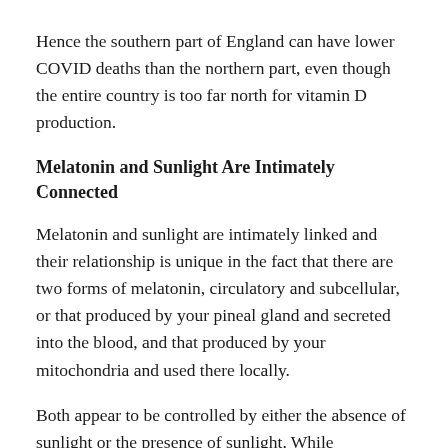Hence the southern part of England can have lower COVID deaths than the northern part, even though the entire country is too far north for vitamin D production.
Melatonin and Sunlight Are Intimately Connected
Melatonin and sunlight are intimately linked and their relationship is unique in the fact that there are two forms of melatonin, circulatory and subcellular, or that produced by your pineal gland and secreted into the blood, and that produced by your mitochondria and used there locally.
Both appear to be controlled by either the absence of sunlight or the presence of sunlight. While circulatory melatonin may be the “hormone of darkness,” subcellular